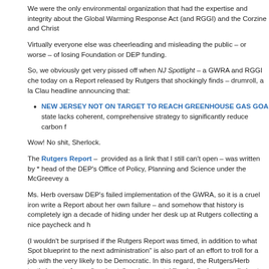We were the only environmental organization that had the expertise and integrity about the Global Warming Response Act (and RGGI) and the Corzine and Christ...
Virtually everyone else was cheerleading and misleading the public – or worse – of losing Foundation or DEP funding.
So, we obviously get very pissed off when NJ Spotlight – a GWRA and RGGI che... today on a Report released by Rutgers that shockingly finds – drumroll, a la Clau... headline announcing that:
NEW JERSEY NOT ON TARGET TO REACH GREENHOUSE GAS GOA... state lacks coherent, comprehensive strategy to significantly reduce carbon f...
Wow! No shit, Sherlock.
The Rutgers Report – provided as a link that I still can't open – was written by * head of the DEP's Office of Policy, Planning and Science under the McGreevey a...
Ms. Herb oversaw DEP's failed implementation of the GWRA, so it is a cruel iron... write a Report about her own failure – and somehow that history is completely ign... a decade of hiding under her desk up at Rutgers collecting a nice paycheck and h...
(I wouldn't be surprised if the Rutgers Report was timed, in addition to what Spot... blueprint to the next administration" is also part of an effort to troll for a job with th... very likely to be Democratic. In this regard, the Rutgers/Herb tactic is part of a mu... "moderate" environmental "leaders" who cowardly kept their powder dry or collab... Christie rollbacks, are all out self promoting: suddenly appearing in the press ano... Catania, Duke Farms, and the Rutgers climate conference and the NJ Spotlight D... just 2 recent examples of this self promotion).